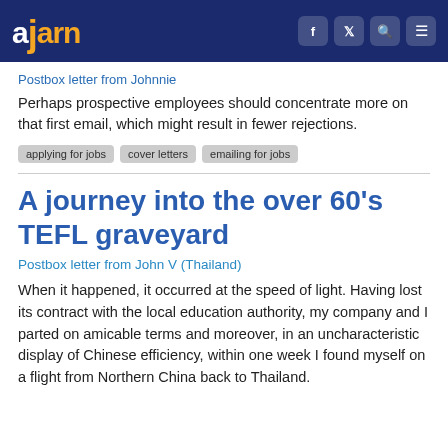ajarn
Postbox letter from Johnnie
Perhaps prospective employees should concentrate more on that first email, which might result in fewer rejections.
applying for jobs
cover letters
emailing for jobs
A journey into the over 60's TEFL graveyard
Postbox letter from John V (Thailand)
When it happened, it occurred at the speed of light. Having lost its contract with the local education authority, my company and I parted on amicable terms and moreover, in an uncharacteristic display of Chinese efficiency, within one week I found myself on a flight from Northern China back to Thailand.